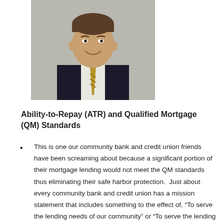[Figure (photo): Professional headshot of a man in a dark suit and striped tie, smiling, against a light background.]
Ability-to-Repay (ATR) and Qualified Mortgage (QM) Standards
This is one our community bank and credit union friends have been screaming about because a significant portion of their mortgage lending would not meet the QM standards thus eliminating their safe harbor protection.  Just about every community bank and credit union has a mission statement that includes something to the effect of, “To serve the lending needs of our community” or “To serve the lending needs of our members.” The initial ATR and QM Standards released effectively squashed that notion by restricting points and fees, restricting balloon loans,